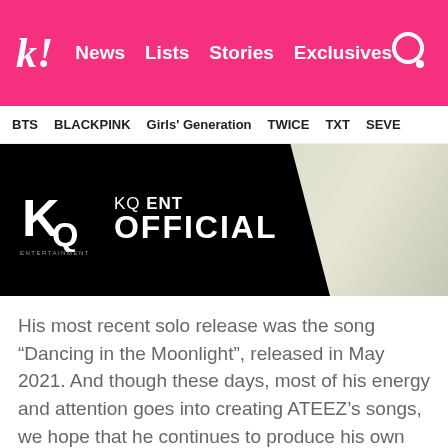k! News Lists Stories Exclusives
BTS BLACKPINK Girls' Generation TWICE TXT SEVE
[Figure (photo): KQ Entertainment official banner image with KQ logo on black background and a blurred background photo]
His most recent solo release was the song “Dancing in the Moonlight”, released in May 2021. And though these days, most of his energy and attention goes into creating ATEEZ’s songs, we hope that he continues to produce his own music as well, because he is an incredibly talented artist with a beautiful voice that deserves to be heard.
[Figure (photo): Bottom image strip, partially visible]